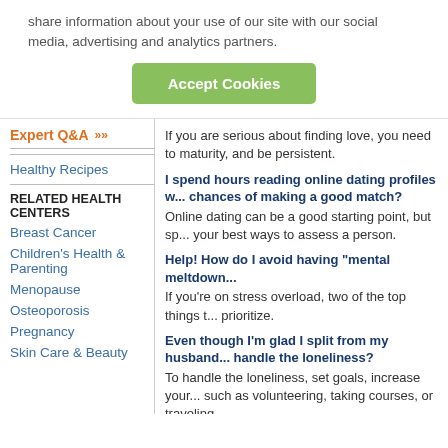share information about your use of our site with our social media, advertising and analytics partners.
Accept Cookies
Expert Q&A
Healthy Recipes
RELATED HEALTH CENTERS
Breast Cancer
Children's Health & Parenting
Menopause
Osteoporosis
Pregnancy
Skin Care & Beauty
If you are serious about finding love, you need to maturity, and be persistent.
I spend hours reading online dating profiles w... chances of making a good match?
Online dating can be a good starting point, but sp... your best ways to assess a person.
Help! How do I avoid having "mental meltdown...
If you're on stress overload, two of the top things t... prioritize.
Even though I'm glad I split from my husband... handle the loneliness?
To handle the loneliness, set goals, increase your... such as volunteering, taking courses, or traveling
What is the best way to be a new step-parent o...
Good step-parenting requires patience, maturity, a...
I want to date again after getting out of a bad r...